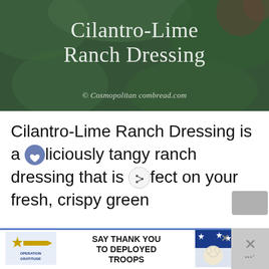[Figure (photo): Hero image of Cilantro-Lime Ranch Dressing with dark green leafy background, white overlay text title and copyright]
Cilantro-Lime Ranch Dressing is a deliciously tangy ranch dressing that is perfect on your fresh, crispy green
WHAT'S NEXT → Homemade Cajun...
[Figure (photo): Small circular thumbnail of Homemade Cajun dish]
[Figure (photo): Advertisement banner: Operation Gratitude - SAY THANK YOU TO DEPLOYED TROOPS with patriotic imagery]
[Figure (screenshot): Close button / dismiss panel on right side]